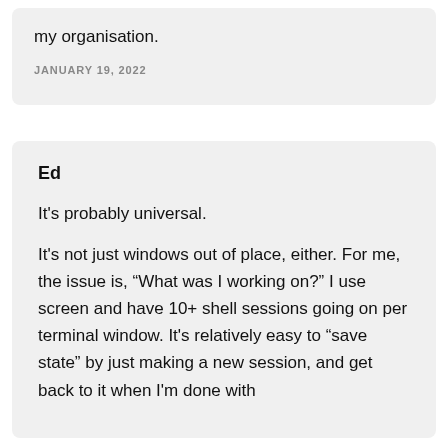my organisation.
JANUARY 19, 2022
Ed
It’s probably universal.
It’s not just windows out of place, either. For me, the issue is, “What was I working on?” I use screen and have 10+ shell sessions going on per terminal window. It’s relatively easy to “save state” by just making a new session, and get back to it when I’m done with